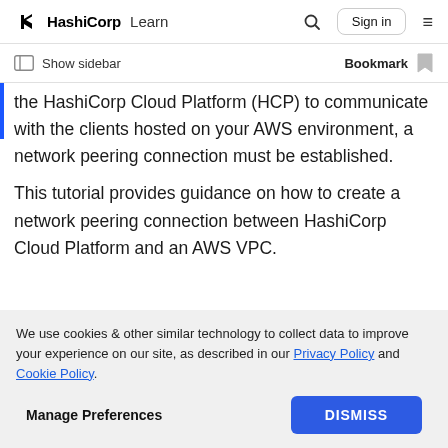HashiCorp Learn — Sign in
Show sidebar   Bookmark
the HashiCorp Cloud Platform (HCP) to communicate with the clients hosted on your AWS environment, a network peering connection must be established.
This tutorial provides guidance on how to create a network peering connection between HashiCorp Cloud Platform and an AWS VPC.
We use cookies & other similar technology to collect data to improve your experience on our site, as described in our Privacy Policy and Cookie Policy.
Manage Preferences   DISMISS